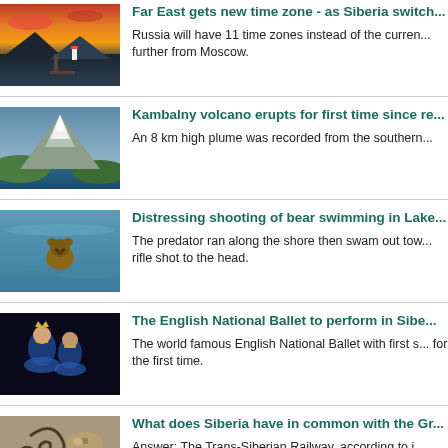[Figure (photo): Sunset landscape with pier and lighthouse over water]
Far East gets new time zone - as Siberia switch...
Russia will have 11 time zones instead of the current... further from Moscow.
[Figure (photo): Snow-capped volcano (Kambalny) with mountain lake]
Kambalny volcano erupts for first time since re...
An 8 km high plume was recorded from the southern...
[Figure (photo): Bear swimming in lake water]
Distressing shooting of bear swimming in Lake...
The predator ran along the shore then swam out tow... rifle shot to the head.
[Figure (photo): English National Ballet performers in costume]
The English National Ballet to perform in Sibe...
The world famous English National Ballet with first s... for the first time.
[Figure (photo): Old ship bell with decorative ironwork]
What does Siberia have in common with the Gr...
Answer: The Trans-Siberian Railway, according to i...